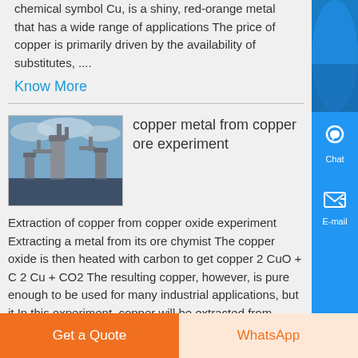chemical symbol Cu, is a shiny, red-orange metal that has a wide range of applications The price of copper is primarily driven by the availability of substitutes, ....
Know More
[Figure (photo): Industrial facility with large pipes and processing equipment against a cloudy sky]
copper metal from copper ore experiment
Extraction of copper from copper oxide experiment Extracting a metal from its ore chymist The copper oxide is then heated with carbon to get copper 2 CuO + C 2 Cu + CO2 The resulting copper, however, is pure enough to be used for many industrial applications, but it In this experiment, copper will be extracted from malachite by reaction with sulfuric acid and
Get a Quote
WhatsApp